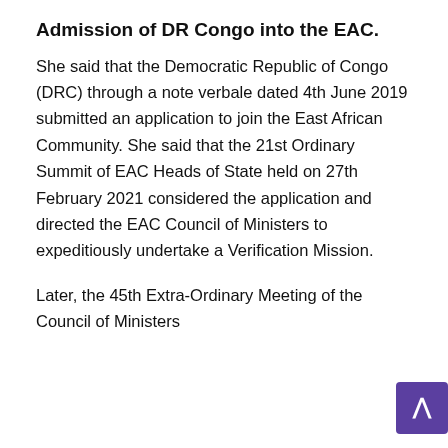Admission of DR Congo into the EAC.
She said that the Democratic Republic of Congo (DRC) through a note verbale dated 4th June 2019 submitted an application to join the East African Community. She said that the 21st Ordinary Summit of EAC Heads of State held on 27th February 2021 considered the application and directed the EAC Council of Ministers to expeditiously undertake a Verification Mission.
Later, the 45th Extra-Ordinary Meeting of the Council of Ministers